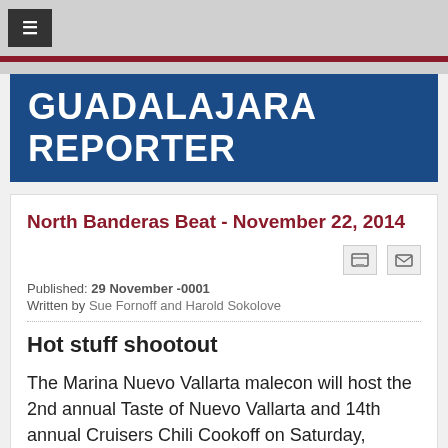≡
GUADALAJARA REPORTER
North Banderas Beat - November 22, 2014
Published: 29 November -0001
Written by Sue Fornoff and Harold Sokolove
Hot stuff shootout
The Marina Nuevo Vallarta malecon will host the 2nd annual Taste of Nuevo Vallarta and 14th annual Cruisers Chili Cookoff on Saturday, December 6, from 4 to 8 p.m.
More than 400 people passed through the gates last year to taste the chili concoctions served up